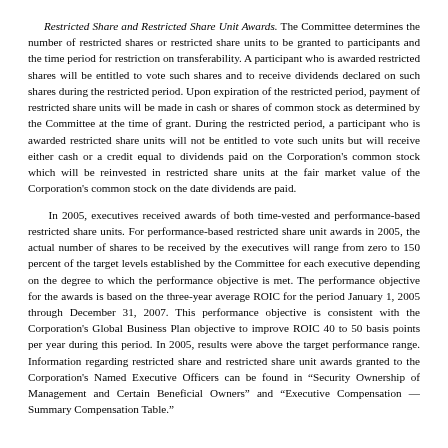Restricted Share and Restricted Share Unit Awards. The Committee determines the number of restricted shares or restricted share units to be granted to participants and the time period for restriction on transferability. A participant who is awarded restricted shares will be entitled to vote such shares and to receive dividends declared on such shares during the restricted period. Upon expiration of the restricted period, payment of restricted share units will be made in cash or shares of common stock as determined by the Committee at the time of grant. During the restricted period, a participant who is awarded restricted share units will not be entitled to vote such units but will receive either cash or a credit equal to dividends paid on the Corporation's common stock which will be reinvested in restricted share units at the fair market value of the Corporation's common stock on the date dividends are paid.
In 2005, executives received awards of both time-vested and performance-based restricted share units. For performance-based restricted share unit awards in 2005, the actual number of shares to be received by the executives will range from zero to 150 percent of the target levels established by the Committee for each executive depending on the degree to which the performance objective is met. The performance objective for the awards is based on the three-year average ROIC for the period January 1, 2005 through December 31, 2007. This performance objective is consistent with the Corporation's Global Business Plan objective to improve ROIC 40 to 50 basis points per year during this period. In 2005, results were above the target performance range. Information regarding restricted share and restricted share unit awards granted to the Corporation's Named Executive Officers can be found in "Security Ownership of Management and Certain Beneficial Owners" and "Executive Compensation — Summary Compensation Table."